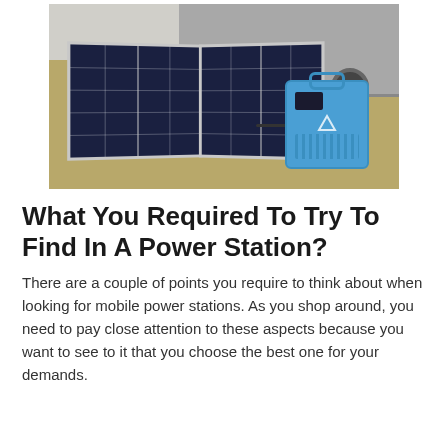[Figure (photo): Outdoor photo of two large solar panels propped up on dry grass, connected by a cable to a blue portable power station. A trailer or caravan is visible in the background.]
What You Required To Try To Find In A Power Station?
There are a couple of points you require to think about when looking for mobile power stations. As you shop around, you need to pay close attention to these aspects because you want to see to it that you choose the best one for your demands.